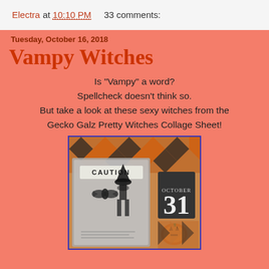Electra at 10:10 PM    33 comments:
Tuesday, October 16, 2018
Vampy Witches
Is "Vampy" a word?
Spellcheck doesn't think so.
But take a look at these sexy witches from the
Gecko Galz Pretty Witches Collage Sheet!
[Figure (photo): Halloween collage artwork showing a woman in a witch hat costume with 'CAUTION' banner, bat illustration, and October 31 decorative element with jack-o-lantern, framed with blue border]